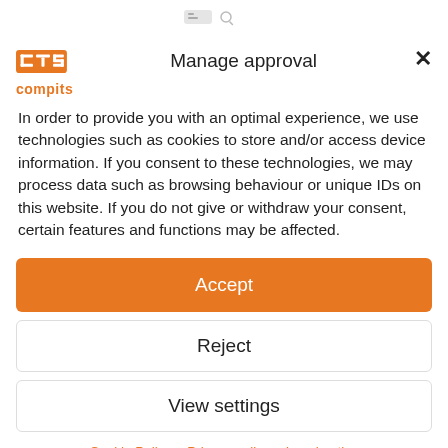[Figure (logo): Compits logo with orange CTS letters and orange 'compits' text below]
Manage approval
In order to provide you with an optimal experience, we use technologies such as cookies to store and/or access device information. If you consent to these technologies, we may process data such as browsing behaviour or unique IDs on this website. If you do not give or withdraw your consent, certain features and functions may be affected.
Accept
Reject
View settings
Cookie Policy   Privacy policy   Legal notice